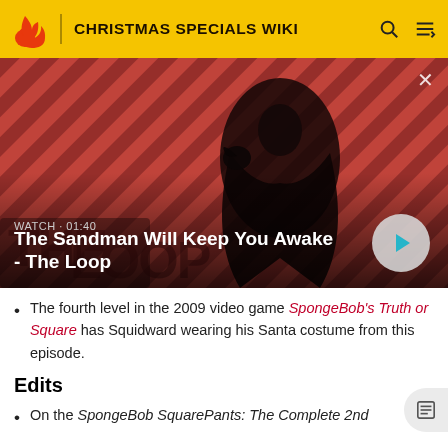CHRISTMAS SPECIALS WIKI
[Figure (screenshot): Video thumbnail showing a dark figure in a black cape with a raven on their shoulder, against a red diagonal striped background with 'THE LOOP' text overlay. Watch time shown as 01:40. Title: The Sandman Will Keep You Awake - The Loop. Play button visible on right.]
The fourth level in the 2009 video game SpongeBob's Truth or Square has Squidward wearing his Santa costume from this episode.
Edits
On the SpongeBob SquarePants: The Complete 2nd